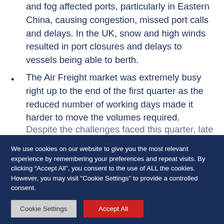and fog affected ports, particularly in Eastern China, causing congestion, missed port calls and delays. In the UK, snow and high winds resulted in port closures and delays to vessels being able to berth.
The Air Freight market was extremely busy right up to the end of the first quarter as the reduced number of working days made it harder to move the volumes required.
Despite the challenges faced this quarter, late...
We use cookies on our website to give you the most relevant experience by remembering your preferences and repeat visits. By clicking “Accept All”, you consent to the use of ALL the cookies. However, you may visit "Cookie Settings" to provide a controlled consent.